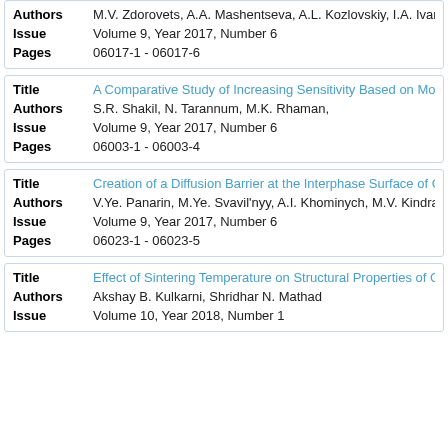| Field | Value |
| --- | --- |
| Authors | M.V. Zdorovets, A.A. Mashentseva, A.L. Kozlovskiy, I.A. Ivano… |
| Issue | Volume 9, Year 2017, Number 6 |
| Pages | 06017-1 - 06017-6 |
| Field | Value |
| --- | --- |
| Title | A Comparative Study of Increasing Sensitivity Based on MoS… |
| Authors | S.R. Shakil, N. Tarannum, M.K. Rhaman, |
| Issue | Volume 9, Year 2017, Number 6 |
| Pages | 06003-1 - 06003-4 |
| Field | Value |
| --- | --- |
| Title | Creation of a Diffusion Barrier at the Interphase Surface of Co… |
| Authors | V.Ye. Panarin, M.Ye. Svavil'nyy, A.I. Khominych, M.V. Kindrac… |
| Issue | Volume 9, Year 2017, Number 6 |
| Pages | 06023-1 - 06023-5 |
| Field | Value |
| --- | --- |
| Title | Effect of Sintering Temperature on Structural Properties of Cd… |
| Authors | Akshay B. Kulkarni, Shridhar N. Mathad |
| Issue | Volume 10, Year 2018, Number 1 |